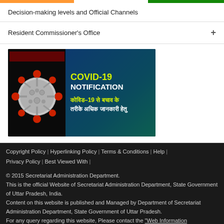Decision-making levels and Official Channels
Resident Commissioner's Office
[Figure (infographic): COVID-19 Notification banner with coronavirus image on left, dark blue-green gradient background, text reading COVID-19 NOTIFICATION in yellow and white, Hindi text below: कोविड-19 से बचाव के तरीके अधिक जानकारी हेतु]
Copyright Policy | Hyperlinking Policy | Terms & Conditions | Help | Privacy Policy | Best Viewed With |
© 2015 Secretariat Administration Department.
This is the official Website of Secretariat Administration Department, State Government of Uttar Pradesh, India.
Content on this website is published and Managed by Department of Secretariat Administration Department, State Government of Uttar Pradesh.
For any query regarding this website, Please contact the "Web Information Manager" at Mr. Kumar at Mr...